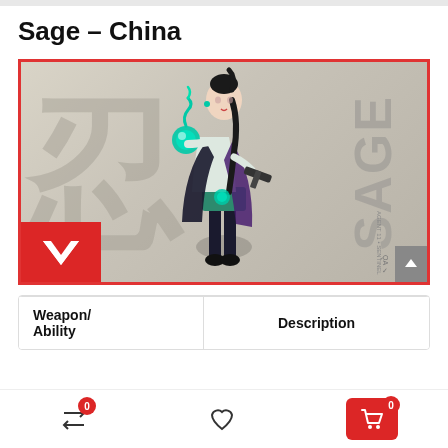Sage – China
[Figure (illustration): Valorant character Sage in a China-themed promotional card with red border, kanji watermark background, SAGE text vertically on the right, and Valorant logo in bottom-left red box.]
| Weapon/ Ability | Description |
| --- | --- |